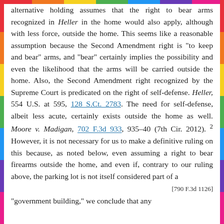alternative holding assumes that the right to bear arms recognized in Heller in the home would also apply, although with less force, outside the home. This seems like a reasonable assumption because the Second Amendment right is "to keep and bear" arms, and "bear" certainly implies the possibility and even the likelihood that the arms will be carried outside the home. Also, the Second Amendment right recognized by the Supreme Court is predicated on the right of self-defense. Heller, 554 U.S. at 595, 128 S.Ct. 2783. The need for self-defense, albeit less acute, certainly exists outside the home as well. Moore v. Madigan, 702 F.3d 933, 935-40 (7th Cir. 2012). 2 However, it is not necessary for us to make a definitive ruling on this because, as noted below, even assuming a right to bear firearms outside the home, and even if, contrary to our ruling above, the parking lot is not itself considered part of a
[790 F.3d 1126]
"government building," we conclude that any